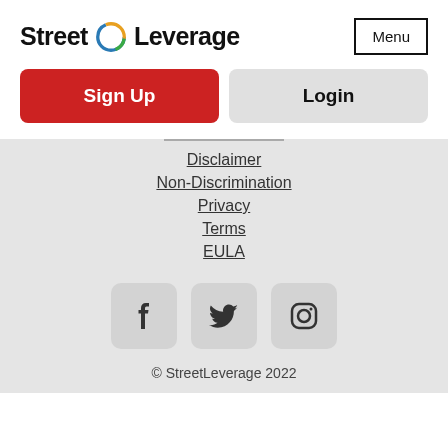Street Leverage
Menu
Sign Up
Login
Disclaimer
Non-Discrimination
Privacy
Terms
EULA
[Figure (logo): Facebook icon]
[Figure (logo): Twitter icon]
[Figure (logo): Instagram icon]
© StreetLeverage 2022